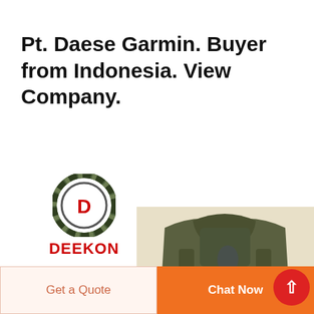Pt. Daese Garmin. Buyer from Indonesia. View Company.
[Figure (logo): DEEKON brand logo: circular camouflage-pattern emblem with a red D in the center, and bold red DEEKON text below]
[Figure (photo): Military/police body armor vest from behind, labeled POLICE in white text, olive drab color, with backpack-style straps and buckles]
Get a Quote
Chat Now